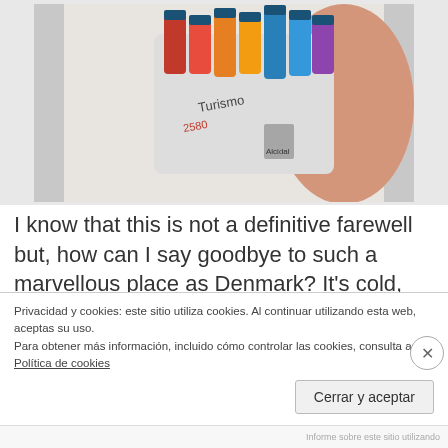[Figure (photo): Photo of a person wearing a white t-shirt with a colorful graphic print, holding or near colorful bottles/containers. Image appears cropped, showing torso area.]
I know that this is not a definitive farewell but, how can I say goodbye to such a marvellous place as Denmark? It's cold, without too much sun and it rains almost six days of the seven that the week has, but all these things have made my experience
Privacidad y cookies: este sitio utiliza cookies. Al continuar utilizando esta web, aceptas su uso.
Para obtener más información, incluido cómo controlar las cookies, consulta aquí: Política de cookies
Cerrar y aceptar